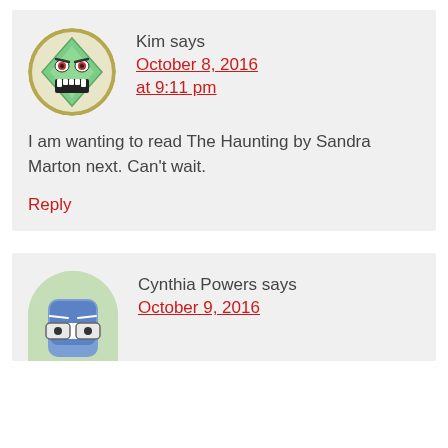[Figure (illustration): Cartoon avatar of a scary green diamond-faced character with fangs, on an olive/gold circular background]
Kim says
October 8, 2016 at 9:11 pm
I am wanting to read The Haunting by Sandra Marton next. Can't wait.
Reply
[Figure (illustration): Cartoon avatar of a blue rectangular character wearing glasses, on a light green background]
Cynthia Powers says
October 9, 2016